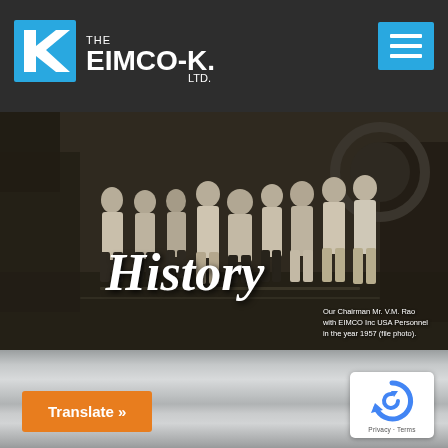THE EIMCO-K.C.P. LTD.
[Figure (photo): Black and white historical photograph of a group of men (approximately 9-10 people) standing together in an industrial setting. Overlaid with the word 'History' in large italic white text. A caption reads: 'Our Chairman Mr. V.M. Rao with EIMCO Inc USA Personnel in the year 1957 (file photo).']
Our Chairman Mr. V.M. Rao with EIMCO Inc USA Personnel in the year 1957 (file photo).
Translate »
[Figure (logo): Google reCAPTCHA badge showing a circular arrow logo with 'Privacy - Terms' text below]